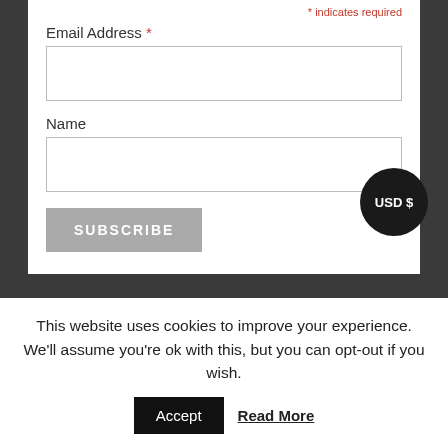* indicates required
Email Address *
Name
SUBSCRIBE
[Figure (other): USD $ currency badge — dark circular button]
[Figure (other): Ninja Weapon Museum Shop banner with dark stone background, ninja silhouette, gold figure, and bold text reading NINJA WEAPON MUSEUM SHOP]
This website uses cookies to improve your experience. We'll assume you're ok with this, but you can opt-out if you wish.
Accept
Read More